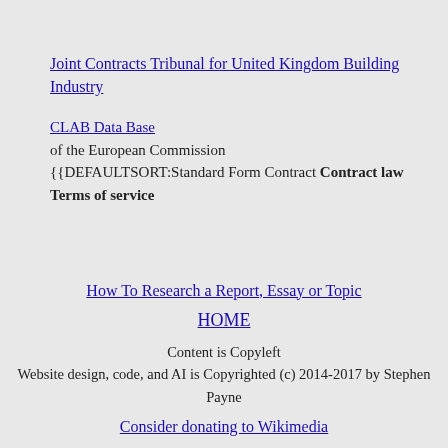Joint Contracts Tribunal for United Kingdom Building Industry
CLAB Data Base
of the European Commission
{{DEFAULTSORT:Standard Form Contract Contract law Terms of service
How To Research a Report, Essay or Topic
HOME
Content is Copyleft
Website design, code, and AI is Copyrighted (c) 2014-2017 by Stephen Payne
Consider donating to Wikimedia